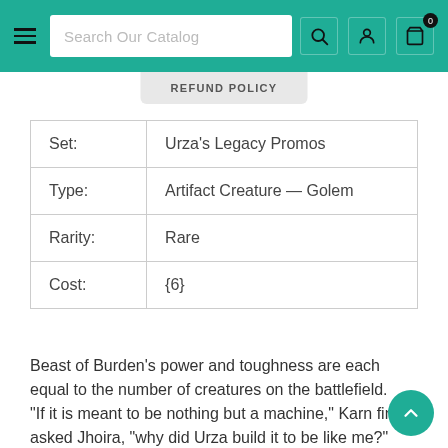Search Our Catalog
REFUND POLICY
|  |  |
| --- | --- |
| Set: | Urza's Legacy Promos |
| Type: | Artifact Creature — Golem |
| Rarity: | Rare |
| Cost: | {6} |
Beast of Burden's power and toughness are each equal to the number of creatures on the battlefield.
"If it is meant to be nothing but a machine," Karn finally asked Jhoira, "why did Urza build it to be like me?"